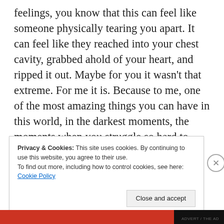feelings, you know that this can feel like someone physically tearing you apart. It can feel like they reached into your chest cavity, grabbed ahold of your heart, and ripped it out. Maybe for you it wasn't that extreme. For me it is. Because to me, one of the most amazing things you can have in this world, in the darkest moments, the moments when you struggle so hard to believe things will work out, is hope. And telling you that you can't accomplish your
Privacy & Cookies: This site uses cookies. By continuing to use this website, you agree to their use.
To find out more, including how to control cookies, see here: Cookie Policy
Close and accept